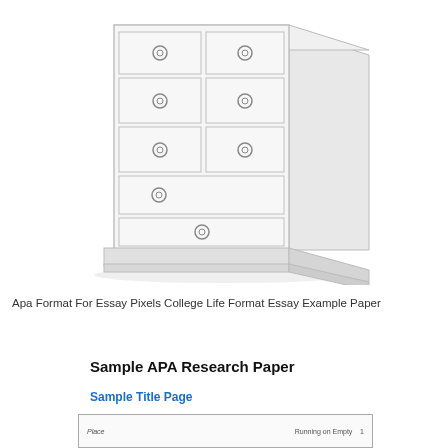[Figure (illustration): Illustration of a white/light-colored chest of drawers (dresser) with multiple drawers featuring circular ring handles, shown in a three-quarter perspective view.]
Apa Format For Essay Pixels College Life Format Essay Example Paper
Sample APA Research Paper
Sample Title Page
[Figure (screenshot): Partial thumbnail of a sample APA title page showing 'Place' label on the left and 'Running on Empty 1' header on the right.]